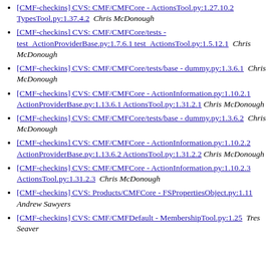[CMF-checkins] CVS: CMF/CMFCore - ActionsTool.py:1.27.10.2 TypesTool.py:1.37.4.2  Chris McDonough
[CMF-checkins] CVS: CMF/CMFCore/tests - test_ActionProviderBase.py:1.7.6.1 test_ActionsTool.py:1.5.12.1  Chris McDonough
[CMF-checkins] CVS: CMF/CMFCore/tests/base - dummy.py:1.3.6.1  Chris McDonough
[CMF-checkins] CVS: CMF/CMFCore - ActionInformation.py:1.10.2.1 ActionProviderBase.py:1.13.6.1 ActionsTool.py:1.31.2.1  Chris McDonough
[CMF-checkins] CVS: CMF/CMFCore/tests/base - dummy.py:1.3.6.2  Chris McDonough
[CMF-checkins] CVS: CMF/CMFCore - ActionInformation.py:1.10.2.2 ActionProviderBase.py:1.13.6.2 ActionsTool.py:1.31.2.2  Chris McDonough
[CMF-checkins] CVS: CMF/CMFCore - ActionInformation.py:1.10.2.3 ActionsTool.py:1.31.2.3  Chris McDonough
[CMF-checkins] CVS: Products/CMFCore - FSPropertiesObject.py:1.11  Andrew Sawyers
[CMF-checkins] CVS: CMF/CMFDefault - MembershipTool.py:1.25  Tres Seaver